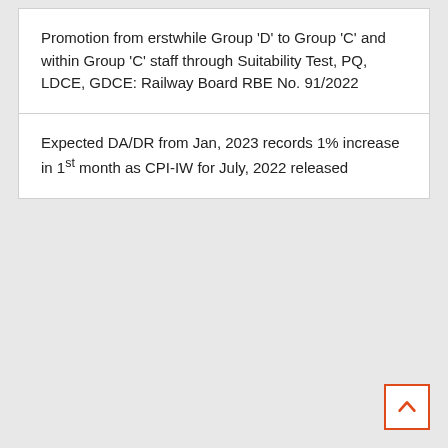Promotion from erstwhile Group 'D' to Group 'C' and within Group 'C' staff through Suitability Test, PQ, LDCE, GDCE: Railway Board RBE No. 91/2022
Expected DA/DR from Jan, 2023 records 1% increase in 1st month as CPI-IW for July, 2022 released